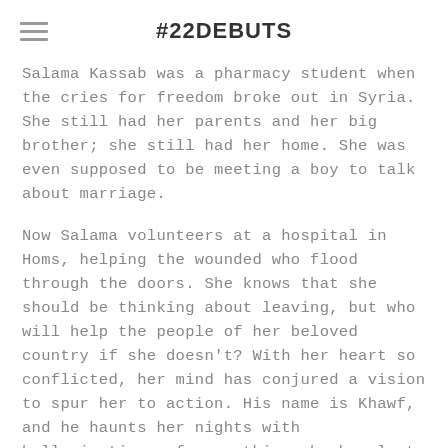#22DEBUTS
Salama Kassab was a pharmacy student when the cries for freedom broke out in Syria. She still had her parents and her big brother; she still had her home. She was even supposed to be meeting a boy to talk about marriage.
Now Salama volunteers at a hospital in Homs, helping the wounded who flood through the doors. She knows that she should be thinking about leaving, but who will help the people of her beloved country if she doesn't? With her heart so conflicted, her mind has conjured a vision to spur her to action. His name is Khawf, and he haunts her nights with hallucinations of everything she has lost.
But now, with Khawf on mission, she started...